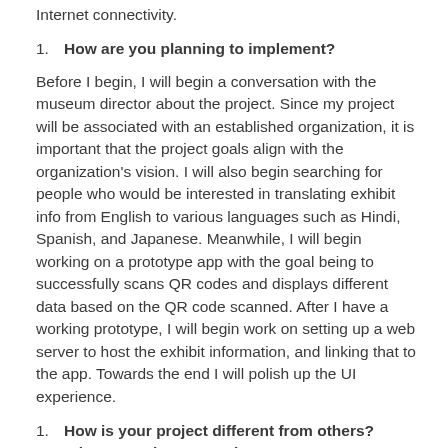Internet connectivity.
1. How are you planning to implement?
Before I begin, I will begin a conversation with the museum director about the project. Since my project will be associated with an established organization, it is important that the project goals align with the organization's vision. I will also begin searching for people who would be interested in translating exhibit info from English to various languages such as Hindi, Spanish, and Japanese. Meanwhile, I will begin working on a prototype app with the goal being to successfully scans QR codes and displays different data based on the QR code scanned. After I have a working prototype, I will begin work on setting up a web server to host the exhibit information, and linking that to the app. Towards the end I will polish up the UI experience.
1. How is your project different from others? What's new in your project?
My project will be providing new features and technology to the Joseph Moore Museum in order to expand its capacities for language accessibility.